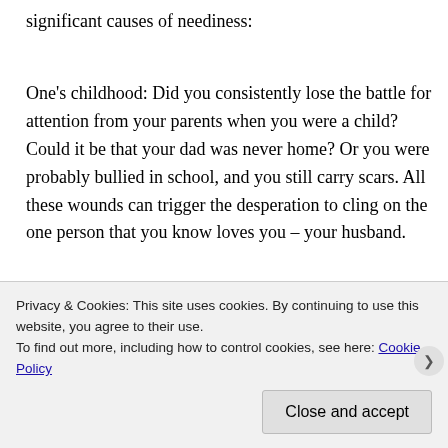significant causes of neediness:
One’s childhood: Did you consistently lose the battle for attention from your parents when you were a child? Could it be that your dad was never home? Or you were probably bullied in school, and you still carry scars. All these wounds can trigger the desperation to cling on the one person that you know loves you – your husband.
You have fostered rejection in your husband: You were perfectly fine until you fell in love. Then you became vulnerable, and you started worrying that he will leave. So, you began to cling even harder. But
Privacy & Cookies: This site uses cookies. By continuing to use this website, you agree to their use.
To find out more, including how to control cookies, see here: Cookie Policy
Close and accept